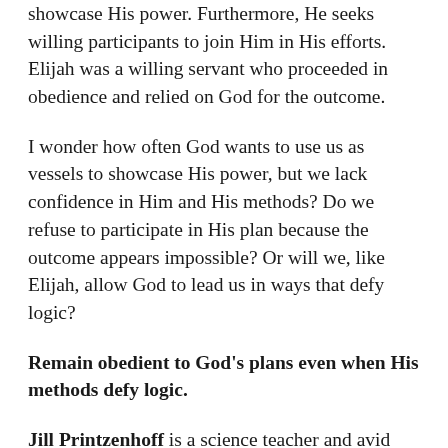showcase His power. Furthermore, He seeks willing participants to join Him in His efforts. Elijah was a willing servant who proceeded in obedience and relied on God for the outcome.
I wonder how often God wants to use us as vessels to showcase His power, but we lack confidence in Him and His methods? Do we refuse to participate in His plan because the outcome appears impossible? Or will we, like Elijah, allow God to lead us in ways that defy logic?
Remain obedient to God's plans even when His methods defy logic.
Jill Printzenhoff is a science teacher and avid reader. She enjoys kayaking, fishing, bike riding,